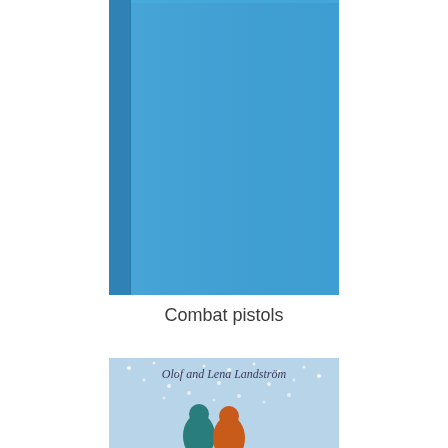[Figure (photo): A plain blue hardcover book with a slightly darker spine on the left side. The cover is a solid medium-blue color with no visible title or text.]
Combat pistols
[Figure (photo): Partial view of a book cover showing text 'Olof and Lena Landström' and an illustrated scene with two bird-like figures in winter coats on a snowy blue background with white dots representing snow.]